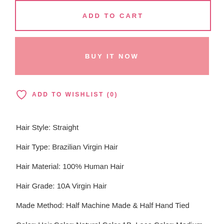ADD TO CART
BUY IT NOW
ADD TO WISHLIST (0)
Hair Style: Straight
Hair Type: Brazilian Virgin Hair
Hair Material: 100% Human Hair
Hair Grade: 10A Virgin Hair
Made Method: Half Machine Made & Half Hand Tied
Color: Hair Color: Natural Color 1B, Lace Color: Medium